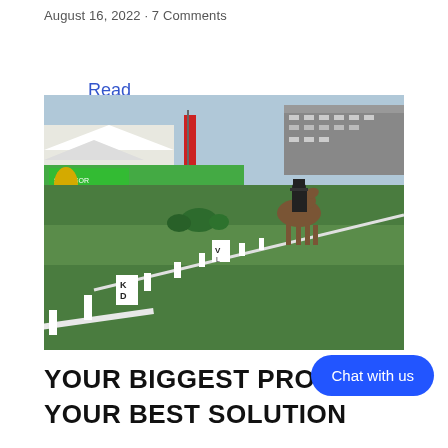August 16, 2022 · 7 Comments
Read More >
[Figure (photo): Outdoor dressage competition on a grass arena. A rider in a black top hat and dark jacket rides a brown horse away from camera along a white rail boundary. Arena letters K and D are visible on white markers. Background shows sponsor banners, tents, flags, and grandstand seating.]
YOUR BIGGEST PROBLEM YOUR BEST SOLUTION
Chat with us